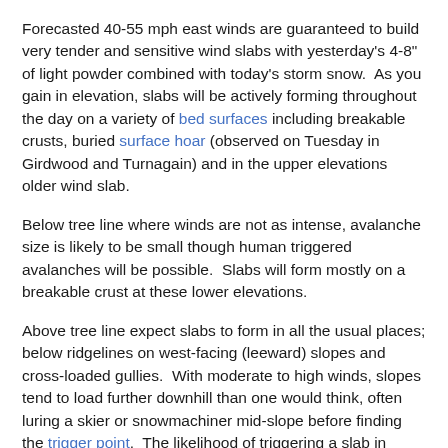Forecasted 40-55 mph east winds are guaranteed to build very tender and sensitive wind slabs with yesterday's 4-8" of light powder combined with today's storm snow.  As you gain in elevation, slabs will be actively forming throughout the day on a variety of bed surfaces including breakable crusts, buried surface hoar (observed on Tuesday in Girdwood and Turnagain) and in the upper elevations older wind slab.
Below tree line where winds are not as intense, avalanche size is likely to be small though human triggered avalanches will be possible.  Slabs will form mostly on a breakable crust at these lower elevations.
Above tree line expect slabs to form in all the usual places; below ridgelines on west-facing (leeward) slopes and cross-loaded gullies.  With moderate to high winds, slopes tend to load further downhill than one would think, often luring a skier or snowmachiner mid-slope before finding the trigger point.  The likelihood of triggering a slab in terrain greater than 35 degrees today is probable; there is however some uncertainty on just how big an avalanche may be.